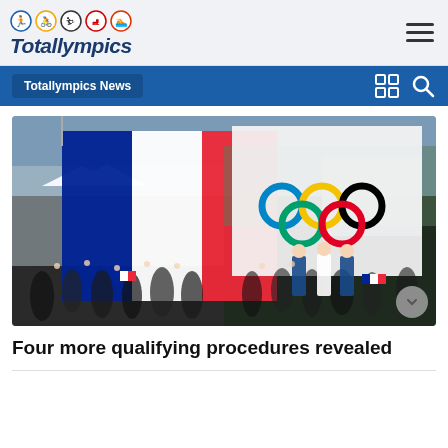Totallympics
Totallympics News
[Figure (photo): Large crowd scene with people waving a French tricolor flag on the left and the Olympic rings flag on the right, outdoor event with tents and buildings in background.]
Four more qualifying procedures revealed